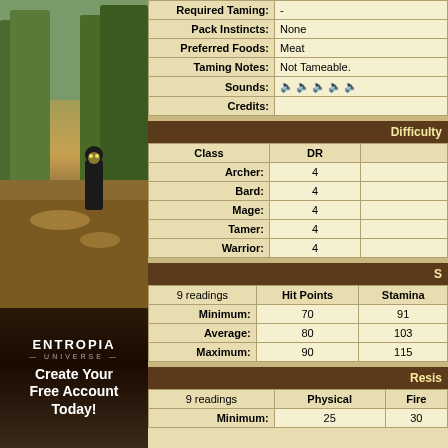[Figure (photo): Game screenshot showing forest environment with character, and Entropia Universe advertisement below]
| Field | Value |
| --- | --- |
| Required Taming: | - |
| Pack Instincts: | None |
| Preferred Foods: | Meat |
| Taming Notes: | Not Tameable. |
| Sounds: | [5 audio icons] |
| Credits: |  |
Difficulty
| Class | DR |
| --- | --- |
| Archer: | 4 |
| Bard: | 4 |
| Mage: | 4 |
| Tamer: | 4 |
| Warrior: | 4 |
Stats
| 9 readings | Hit Points | Stamina |
| --- | --- | --- |
| Minimum: | 70 | 91 |
| Average: | 80 | 103 |
| Maximum: | 90 | 115 |
Resistances
| 9 readings | Physical | Fire |
| --- | --- | --- |
| Minimum: | 25 | 30 |